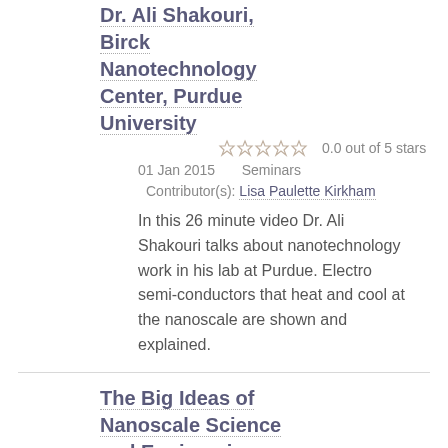Dr. Ali Shakouri, Birck Nanotechnology Center, Purdue University
0.0 out of 5 stars
01 Jan 2015    Seminars
Contributor(s): Lisa Paulette Kirkham
In this 26 minute video Dr. Ali Shakouri talks about nanotechnology work in his lab at Purdue. Electro semi-conductors that heat and cool at the nanoscale are shown and explained.
The Big Ideas of Nanoscale Science and Engineering Chapter 1
0.0 out of 5 stars
02 Jun 2014